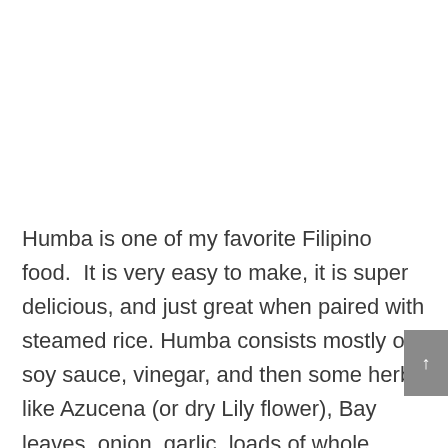Humba is one of my favorite Filipino food.  It is very easy to make, it is super delicious, and just great when paired with steamed rice. Humba consists mostly of soy sauce, vinegar, and then some herbs like Azucena (or dry Lily flower), Bay leaves, onion, garlic, loads of whole pepper and the most important are the salted black beans.